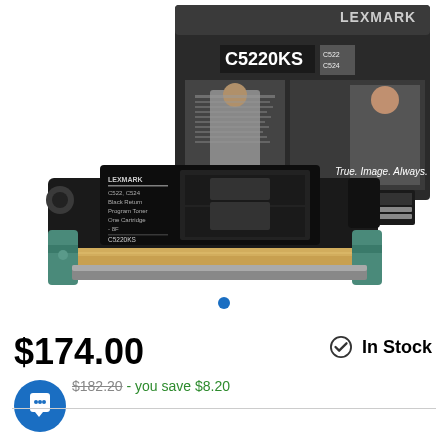[Figure (photo): Lexmark C5220KS black toner cartridge product photo showing the toner cartridge in front of its packaging box. The box is dark gray/black with 'C5220KS' text and 'True. Image. Always.' branding. The toner cartridge is black with a gold/tan colored drum roller.]
$174.00
In Stock
$182.20 - you save $8.20